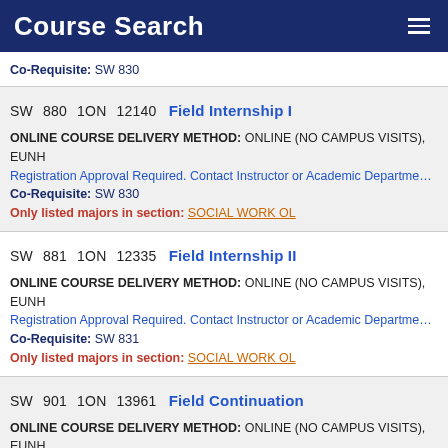Course Search
Co-Requisite: SW 830
SW 880 1ON 12140 Field Internship I
ONLINE COURSE DELIVERY METHOD: ONLINE (NO CAMPUS VISITS), EUNH
Registration Approval Required. Contact Instructor or Academic Department for perm
Co-Requisite: SW 830
Only listed majors in section: SOCIAL WORK OL
SW 881 1ON 12335 Field Internship II
ONLINE COURSE DELIVERY METHOD: ONLINE (NO CAMPUS VISITS), EUNH
Registration Approval Required. Contact Instructor or Academic Department for perm
Co-Requisite: SW 831
Only listed majors in section: SOCIAL WORK OL
SW 901 1ON 13961 Field Continuation
ONLINE COURSE DELIVERY METHOD: ONLINE (NO CAMPUS VISITS), EUNH
Department Approval Required. Contact Academic Department for permission then r
SW 901 2ON 13962 Field Continuation
ONLINE COURSE DELIVERY METHOD: ONLINE (NO CAMPUS VISITS), EUNH
Department Approval Required. Contact Academic Department for permission then r